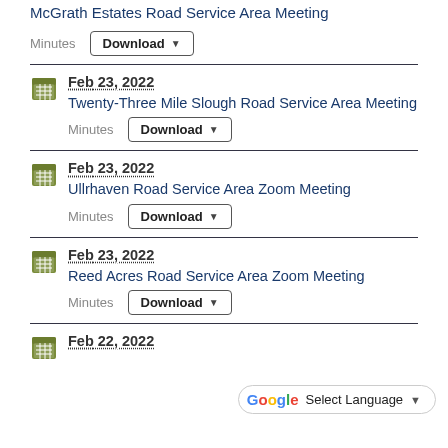McGrath Estates Road Service Area Meeting
Minutes  Download
Feb 23, 2022 — Twenty-Three Mile Slough Road Service Area Meeting
Minutes  Download
Feb 23, 2022 — Ullrhaven Road Service Area Zoom Meeting
Minutes  Download
Feb 23, 2022 — Reed Acres Road Service Area Zoom Meeting
Minutes  Download
Feb 22, 2022